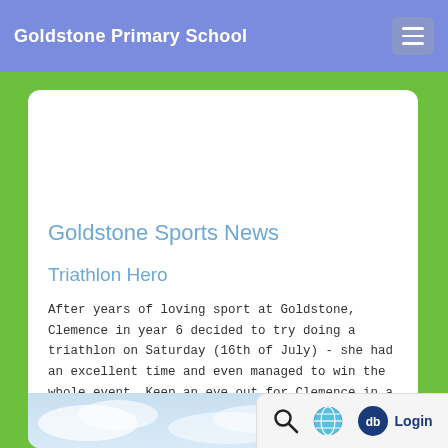Goldstone Primary School
Goldstone Sports News
Triathlon Hero
After years of loving sport at Goldstone, Clemence in year 6 decided to try doing a triathlon on Saturday (16th of July) - she had an excellent time and even managed to win the whole event. Keep an eye out for Clemence in a future olympics!
[Figure (photo): Blue sky or outdoor photo strip at the bottom of the card]
[Figure (other): Bottom toolbar with search icon, globe icon, and db Login button]